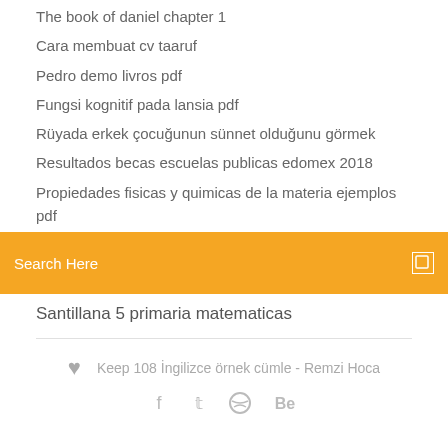The book of daniel chapter 1
Cara membuat cv taaruf
Pedro demo livros pdf
Fungsi kognitif pada lansia pdf
Rüyada erkek çocuğunun sünnet olduğunu görmek
Resultados becas escuelas publicas edomex 2018
Propiedades fisicas y quimicas de la materia ejemplos pdf
[Figure (screenshot): Orange search bar with 'Search Here' placeholder text and a search icon on the right]
Santillana 5 primaria matematicas
Keep 108 İngilizce örnek cümle - Remzi Hoca
[Figure (infographic): Social icons row: Facebook, Twitter, Dribbble, Behance]
Blues Traveler - Just Wait Lyrics | AZLyrics.com